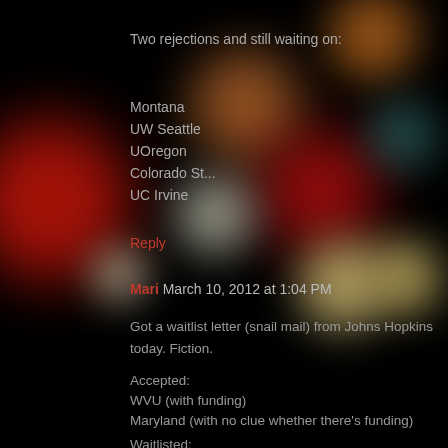Two rejections and still waiting on:
Montana
UW Seattle
UOregon
Colorado St...
UC Irvine
Reply
Mari  March 10, 2012 at 1:04 PM
Got a waitlist letter (snail mail) from Johns Hopkins today. Fiction.
Accepted:
WVU (with funding)
Maryland (with no clue whether there's funding)
Waitlisted:
Hopkins